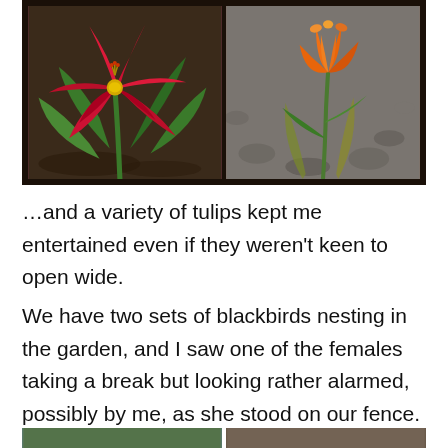[Figure (photo): Two tulip photos side by side in a dark frame. Left photo: a dramatic open red/crimson tulip with spiky petals showing yellow stamens. Right photo: a closed orange-red tulip bud on a stem with a grey gravel background.]
…and a variety of tulips kept me entertained even if they weren't keen to open wide.
We have two sets of blackbirds nesting in the garden, and I saw one of the females taking a break but looking rather alarmed, possibly by me, as she stood on our fence.
[Figure (photo): Bottom strip showing two partial photos, partially visible at the bottom of the page.]